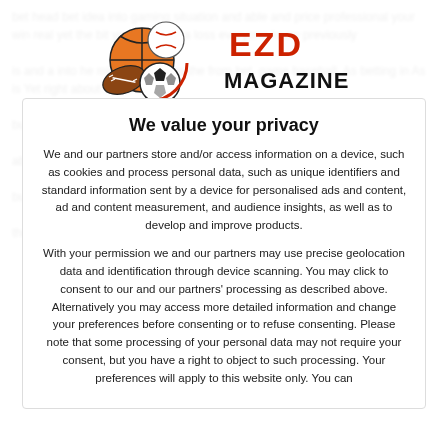[Figure (logo): EZD Magazine logo with sports balls (basketball, baseball, football, soccer ball) and red and black text reading EZD MAGAZINE]
We value your privacy
We and our partners store and/or access information on a device, such as cookies and process personal data, such as unique identifiers and standard information sent by a device for personalised ads and content, ad and content measurement, and audience insights, as well as to develop and improve products.
With your permission we and our partners may use precise geolocation data and identification through device scanning. You may click to consent to our and our partners' processing as described above. Alternatively you may access more detailed information and change your preferences before consenting or to refuse consenting. Please note that some processing of your personal data may not require your consent, but you have a right to object to such processing. Your preferences will apply to this website only. You can